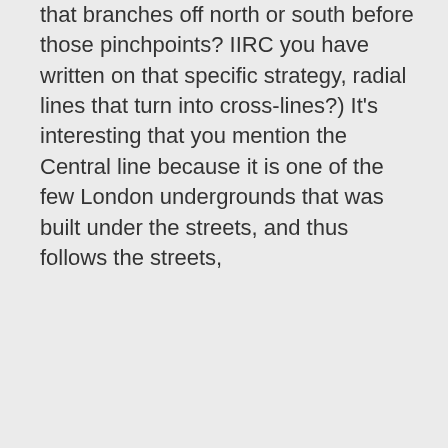that branches off north or south before those pinchpoints? IIRC you have written on that specific strategy, radial lines that turn into cross-lines?) It's interesting that you mention the Central line because it is one of the few London undergrounds that was built under the streets, and thus follows the streets,